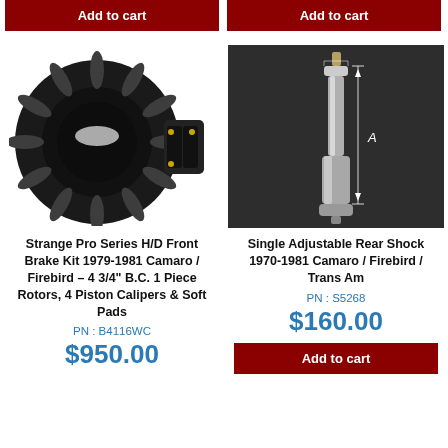[Figure (photo): Add to cart button left - dark red button]
[Figure (photo): Add to cart button right - dark red button]
[Figure (photo): Strange Pro Series brake kit - black brake disc with caliper on white background]
[Figure (photo): Single Adjustable Rear Shock absorber - silver cylinder on dark background with dimension label A]
Strange Pro Series H/D Front Brake Kit 1979-1981 Camaro / Firebird – 4 3/4" B.C. 1 Piece Rotors, 4 Piston Calipers & Soft Pads
Single Adjustable Rear Shock 1970-1981 Camaro / Firebird / Trans Am
PN : B4116WC
PN : S5268
$950.00
$160.00
[Figure (photo): Add to cart button bottom right - dark red button]